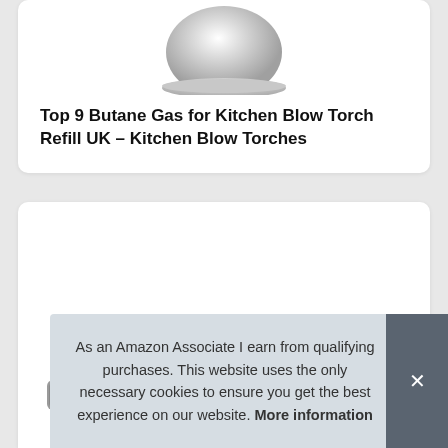[Figure (photo): Partial top view of a kitchen blow torch with silver metallic dome, cropped at the top of the card]
Top 9 Butane Gas for Kitchen Blow Torch Refill UK – Kitchen Blow Torches
[Figure (photo): Partially visible product image showing a round silver butane gas canister for kitchen blow torch, cropped at bottom]
As an Amazon Associate I earn from qualifying purchases. This website uses the only necessary cookies to ensure you get the best experience on our website. More information